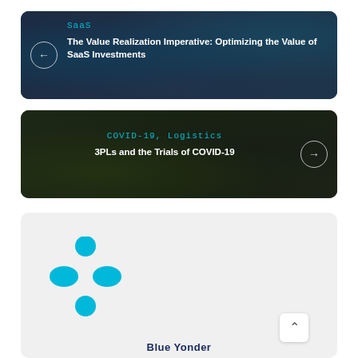[Figure (screenshot): Card with dark blue background showing 'SaaS' category label in cyan and title 'The Value Realization Imperative: Optimizing the Value of SaaS Investments' in white, with a back arrow circle on the left]
[Figure (screenshot): Card with dark background showing warehouse worker in yellow vest, 'COVID-19, Logistics' category label in cyan and title '3PLs and the Trials of COVID-19' in white, with a forward arrow circle on the right]
[Figure (logo): Blue Yonder logo on light gray card background — cyan four-dot clover/cross shape above the 'Blue Yonder' text in dark navy blue]